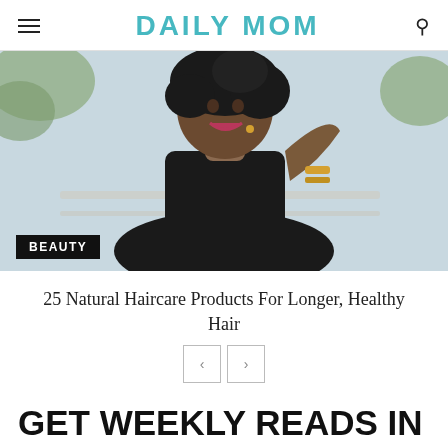DAILY MOM
[Figure (photo): Smiling woman with natural curly hair wearing a black top and gold bracelets, photographed outdoors with greenery in background. BEAUTY category badge overlaid at bottom left.]
25 Natural Haircare Products For Longer, Healthy Hair
< >
GET WEEKLY READS IN YOUR INBOX